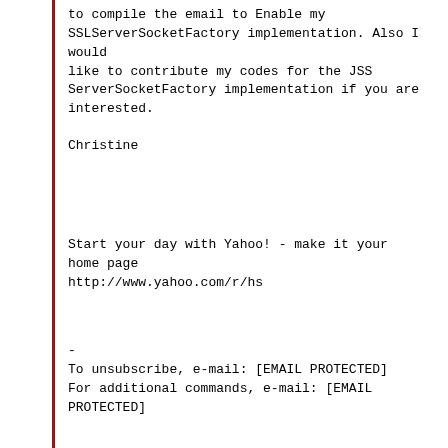to compile the email to Enable my
SSLServerSocketFactory implementation. Also I would
like to contribute my codes for the JSS
ServerSocketFactory implementation if you are interested.
Christine
Start your day with Yahoo! - make it your home page
http://www.yahoo.com/r/hs
-
To unsubscribe, e-mail: [EMAIL PROTECTED]
For additional commands, e-mail: [EMAIL PROTECTED]